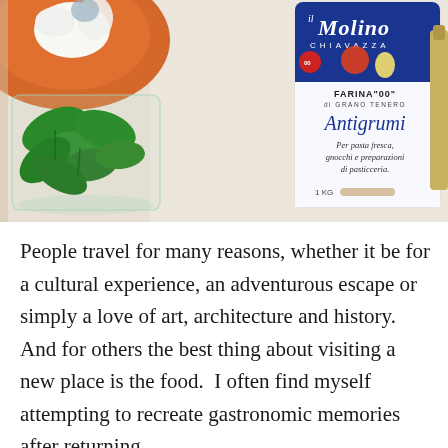[Figure (photo): Kitchen scene showing an il Molino Chiavazza Farina 00 Antigrumi flour bag (for pasta fresca, gnocchi e preparazioni di pasticceria), a glass bowl with fresh basil leaves, and an orange plate with mozzarella in the background on a light countertop.]
People travel for many reasons, whether it be for a cultural experience, an adventurous escape or simply a love of art, architecture and history.  And for others the best thing about visiting a new place is the food.  I often find myself attempting to recreate gastronomic memories after returning